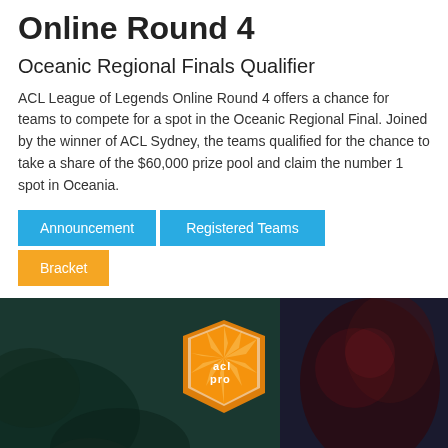Online Round 4
Oceanic Regional Finals Qualifier
ACL League of Legends Online Round 4 offers a chance for teams to compete for a spot in the Oceanic Regional Final. Joined by the winner of ACL Sydney, the teams qualified for the chance to take a share of the $60,000 prize pool and claim the number 1 spot in Oceania.
Announcement
Registered Teams
Bracket
[Figure (illustration): ACL Pro shield logo on a dark teal/fantasy-themed background with League of Legends character imagery on the right side]